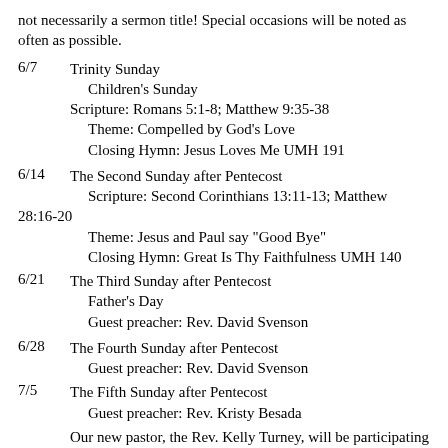not necessarily a sermon title!  Special occasions will be noted as often as possible.
6/7	Trinity Sunday
	Children's Sunday
	Scripture:  Romans 5:1-8; Matthew 9:35-38
	Theme: Compelled by God's Love
	Closing Hymn: Jesus Loves Me UMH 191
6/14	The Second Sunday after Pentecost
	Scripture:  Second Corinthians 13:11-13; Matthew 28:16-20
	Theme: Jesus and Paul say "Good Bye"
	Closing Hymn:  Great Is Thy Faithfulness UMH 140
6/21	The Third Sunday after Pentecost
	Father's Day
	Guest preacher:  Rev. David Svenson
6/28	The Fourth Sunday after Pentecost
	Guest preacher:  Rev. David Svenson
7/5	The Fifth Sunday after Pentecost
	Guest preacher: Rev. Kristy Besada
Our new pastor, the Rev. Kelly Turney, will be participating